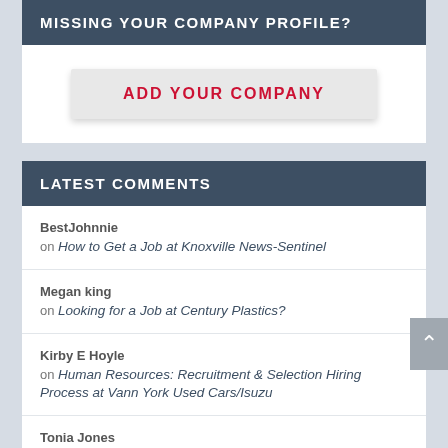MISSING YOUR COMPANY PROFILE?
ADD YOUR COMPANY
LATEST COMMENTS
BestJohnnie on How to Get a Job at Knoxville News-Sentinel
Megan king on Looking for a Job at Century Plastics?
Kirby E Hoyle on Human Resources: Recruitment & Selection Hiring Process at Vann York Used Cars/Isuzu
Tonia Jones on What Is the Hiring Process at CIENA Corp?